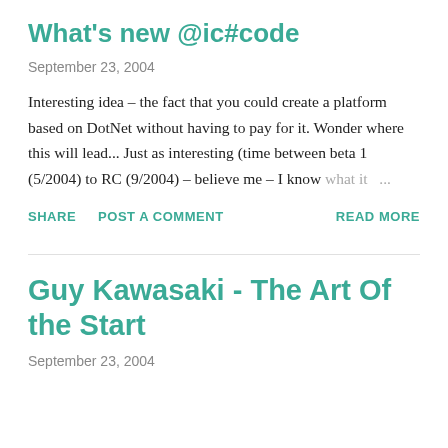What's new @ic#code
September 23, 2004
Interesting idea – the fact that you could create a platform based on DotNet without having to pay for it. Wonder where this will lead... Just as interesting (time between beta 1 (5/2004) to RC (9/2004) – believe me – I know what it …
SHARE  POST A COMMENT  READ MORE
Guy Kawasaki - The Art Of the Start
September 23, 2004